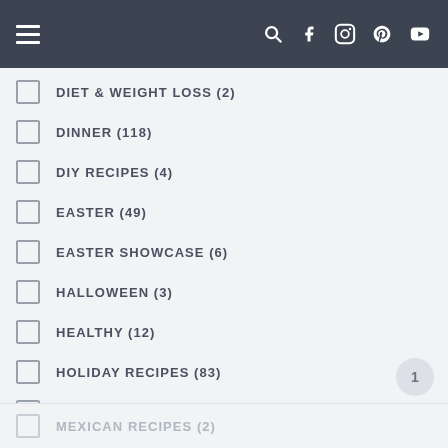Navigation header with hamburger menu and social icons
DIET & WEIGHT LOSS (2)
DINNER (118)
DIY RECIPES (4)
EASTER (49)
EASTER SHOWCASE (6)
HALLOWEEN (3)
HEALTHY (12)
HOLIDAY RECIPES (83)
INSTANT POT RECIPES (2)
LOW CARB (4)
LUNCH (2)
MAINS (97)
MEXICAN RECIPES (2)